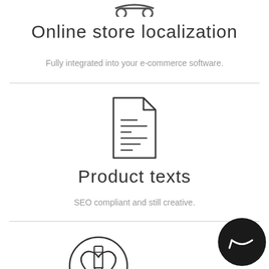[Figure (illustration): Icon of a car (two circles as wheels with lines above) at the top of the page]
Online store localization
Fully integrated into your e-commerce software.
[Figure (illustration): Icon of a document/file with text lines on it]
Product texts
SEO compliant and still creative.
[Figure (illustration): Icon of a pencil inside a heart shape inside a circle]
[Figure (illustration): Black circular chat/messenger button in bottom-right corner]